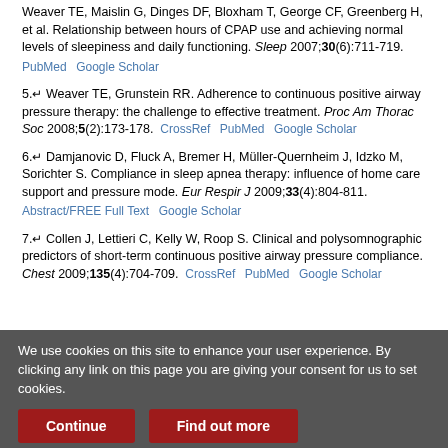4. Weaver TE, Maislin G, Dinges DF, Bloxham T, George CF, Greenberg H, et al. Relationship between hours of CPAP use and achieving normal levels of sleepiness and daily functioning. Sleep 2007;30(6):711-719. PubMed Google Scholar
5. Weaver TE, Grunstein RR. Adherence to continuous positive airway pressure therapy: the challenge to effective treatment. Proc Am Thorac Soc 2008;5(2):173-178. CrossRef PubMed Google Scholar
6. Damjanovic D, Fluck A, Bremer H, Müller-Quernheim J, Idzko M, Sorichter S. Compliance in sleep apnea therapy: influence of home care support and pressure mode. Eur Respir J 2009;33(4):804-811. Abstract/FREE Full Text Google Scholar
7. Collen J, Lettieri C, Kelly W, Roop S. Clinical and polysomnographic predictors of short-term continuous positive airway pressure compliance. Chest 2009;135(4):704-709. CrossRef PubMed Google Scholar
We use cookies on this site to enhance your user experience. By clicking any link on this page you are giving your consent for us to set cookies.